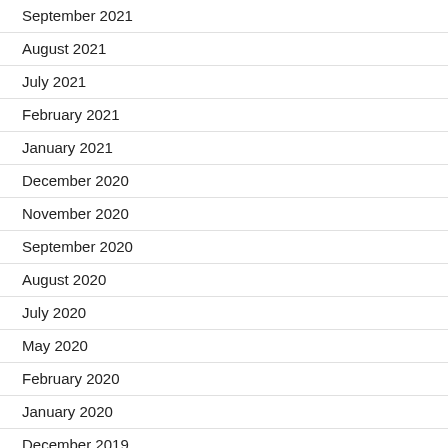September 2021
August 2021
July 2021
February 2021
January 2021
December 2020
November 2020
September 2020
August 2020
July 2020
May 2020
February 2020
January 2020
December 2019